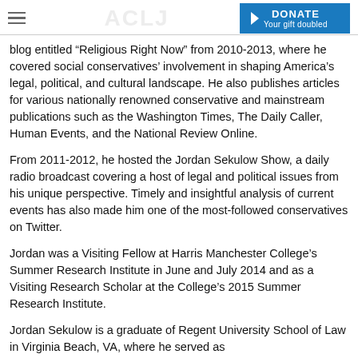ACLJ | DONATE Your gift doubled
blog entitled “Religious Right Now” from 2010-2013, where he covered social conservatives’ involvement in shaping America’s legal, political, and cultural landscape. He also publishes articles for various nationally renowned conservative and mainstream publications such as the Washington Times, The Daily Caller, Human Events, and the National Review Online.
From 2011-2012, he hosted the Jordan Sekulow Show, a daily radio broadcast covering a host of legal and political issues from his unique perspective. Timely and insightful analysis of current events has also made him one of the most-followed conservatives on Twitter.
Jordan was a Visiting Fellow at Harris Manchester College’s Summer Research Institute in June and July 2014 and as a Visiting Research Scholar at the College’s 2015 Summer Research Institute.
Jordan Sekulow is a graduate of Regent University School of Law in Virginia Beach, VA, where he served as [Editor-in-Chief of the Regent Journal of...]